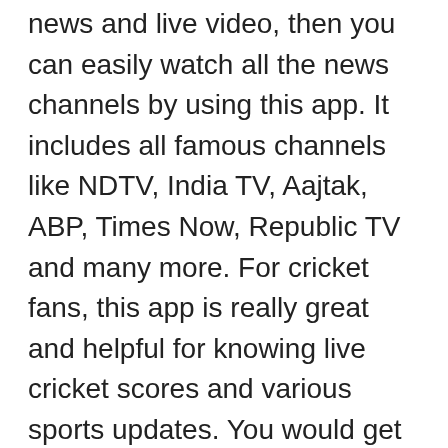news and live video, then you can easily watch all the news channels by using this app. It includes all famous channels like NDTV, India TV, Aajtak, ABP, Times Now, Republic TV and many more. For cricket fans, this app is really great and helpful for knowing live cricket scores and various sports updates. You would get the instant cricket scores and several notifications regarding your favorite match.
The app is available to download for both Android and iOS users through the Google Play Store and Apple App Store. It is also accessible on the desktops as a Web-based service. So, what are you waiting for?